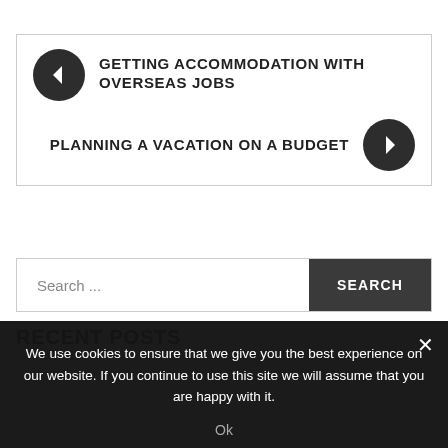GETTING ACCOMMODATION WITH OVERSEAS JOBS
PLANNING A VACATION ON A BUDGET
Search ...
RECENT POSTS
We use cookies to ensure that we give you the best experience on our website. If you continue to use this site we will assume that you are happy with it.
Ok